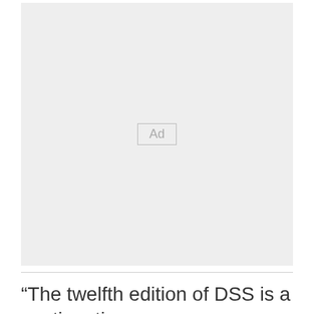[Figure (other): Advertisement placeholder box with 'Ad' label in center]
“The twelfth edition of DSS is a continuation